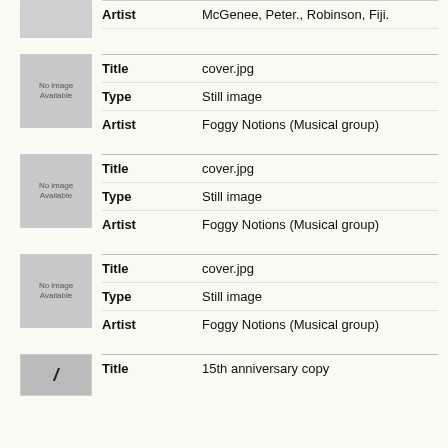| Label | Value |
| --- | --- |
| Artist | McGenee, Peter., Robinson, Fiji. |
[Figure (illustration): Thumbnail image placeholder (no image available)]
| Label | Value |
| --- | --- |
| Title | cover.jpg |
| Type | Still image |
| Artist | Foggy Notions (Musical group) |
[Figure (illustration): Thumbnail image placeholder (no image available)]
| Label | Value |
| --- | --- |
| Title | cover.jpg |
| Type | Still image |
| Artist | Foggy Notions (Musical group) |
[Figure (illustration): Thumbnail image placeholder (no image available)]
| Label | Value |
| --- | --- |
| Title | cover.jpg |
| Type | Still image |
| Artist | Foggy Notions (Musical group) |
[Figure (illustration): Thumbnail image placeholder (partial view)]
| Label | Value |
| --- | --- |
| Title | 15th anniversary copy |